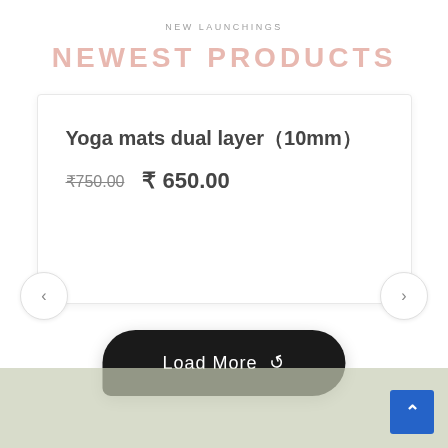NEW LAUNCHINGS
NEWEST PRODUCTS
Yoga mats dual layer（10mm）₹750.00  ₹ 650.00
Load More